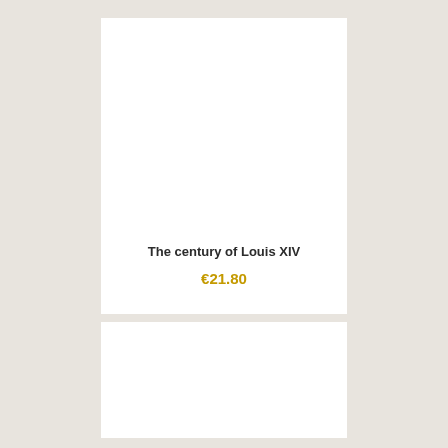The century of Louis XIV
€21.80